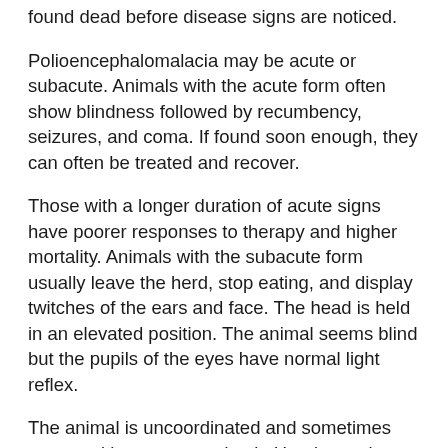found dead before disease signs are noticed.
Polioencephalomalacia may be acute or subacute. Animals with the acute form often show blindness followed by recumbency, seizures, and coma. If found soon enough, they can often be treated and recover.
Those with a longer duration of acute signs have poorer responses to therapy and higher mortality. Animals with the subacute form usually leave the herd, stop eating, and display twitches of the ears and face. The head is held in an elevated position. The animal seems blind but the pupils of the eyes have normal light reflex.
The animal is uncoordinated and sometimes moves with exaggerated gait. Head pressing and grinding of the teeth may also be seen.
The subacute form is frequently followed by recovery with only minor neurologic impairment. However, in a